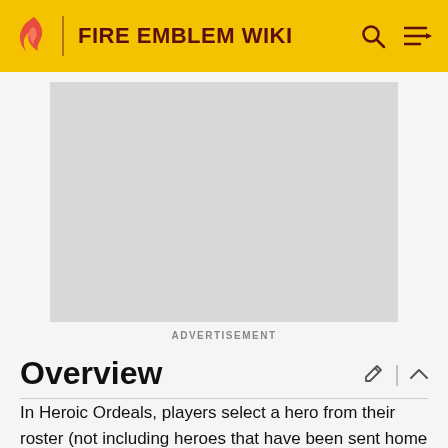FIRE EMBLEM WIKI
[Figure (other): Advertisement placeholder (gray rectangle)]
ADVERTISEMENT
Overview
In Heroic Ordeals, players select a hero from their roster (not including heroes that have been sent home or turned Combat Manuals) as the Ordeal Challenger, and an additional unit to take on a map unique to the Challenger. Within 20 turns, both units must survive and defeat all